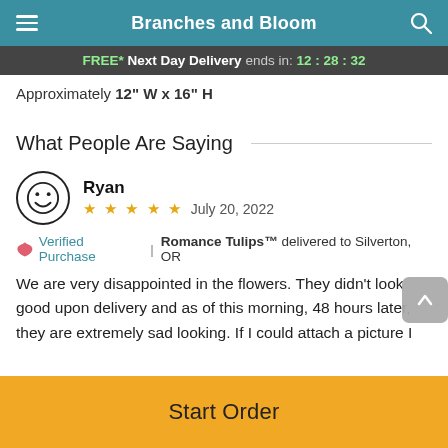Branches and Bloom
FREE* Next Day Delivery ends in: 12:28:32
Approximately 12" W x 16" H
What People Are Saying
Ryan
★★★★★  July 20, 2022
Verified Purchase | Romance Tulips™ delivered to Silverton, OR
We are very disappointed in the flowers. They didn't look good upon delivery and as of this morning, 48 hours later, they are extremely sad looking. If I could attach a picture I
Start Order